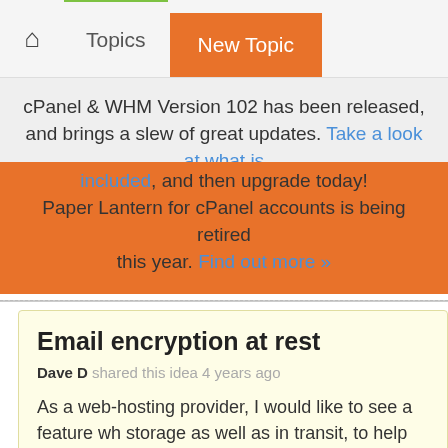Topics | New Topic
cPanel & WHM Version 102 has been released, and brings a slew of great updates. Take a look at what is included, and then upgrade today! Paper Lantern for cPanel accounts is being retired this year. Find out more »
Email encryption at rest
Dave D shared this idea 4 years ago
As a web-hosting provider, I would like to see a feature wh storage as well as in transit, to help me in my goals related